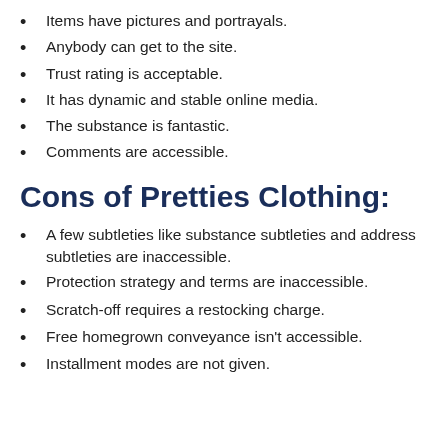Items have pictures and portrayals.
Anybody can get to the site.
Trust rating is acceptable.
It has dynamic and stable online media.
The substance is fantastic.
Comments are accessible.
Cons of Pretties Clothing:
A few subtleties like substance subtleties and address subtleties are inaccessible.
Protection strategy and terms are inaccessible.
Scratch-off requires a restocking charge.
Free homegrown conveyance isn’t accessible.
Installment modes are not given.